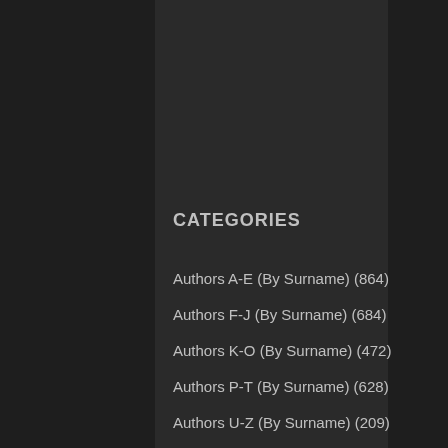CATEGORIES
Authors A-E (By Surname) (864)
Authors F-J (By Surname) (684)
Authors K-O (By Surname) (472)
Authors P-T (By Surname) (628)
Authors U-Z (By Surname) (209)
Fiction (1,793)
Magazine (8)